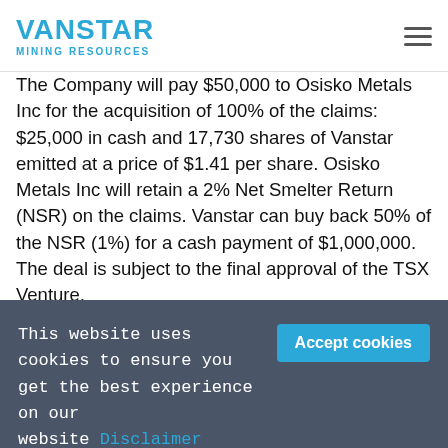VANSTAR MINING RESOURCES
The Company will pay $50,000 to Osisko Metals Inc for the acquisition of 100% of the claims: $25,000 in cash and 17,730 shares of Vanstar emitted at a price of $1.41 per share. Osisko Metals Inc will retain a 2% Net Smelter Return (NSR) on the claims. Vanstar can buy back 50% of the NSR (1%) for a cash payment of $1,000,000. The deal is subject to the final approval of the TSX Venture.
This press release has been read and approved by Mr. Gilles Laverdière, P. Geo and qualified person under Canadian standard 43-101.
This website uses cookies to ensure you get the best experience on our website Disclaimer